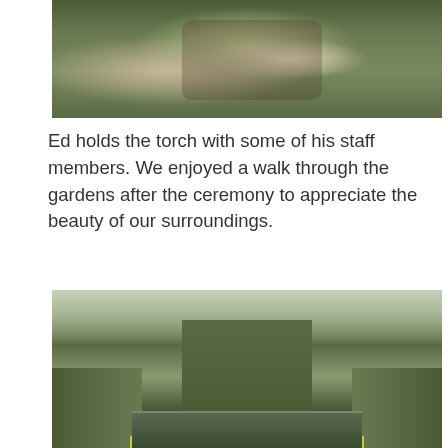[Figure (photo): People holding a torch together outdoors, with greenery in the background. Ed holds the torch with some of his staff members.]
Ed holds the torch with some of his staff members. We enjoyed a walk through the gardens after the ceremony to appreciate the beauty of our surroundings.
[Figure (photo): A formal garden with a long reflecting pool flanked by tall hedges and towering trees in a misty, overcast atmosphere.]